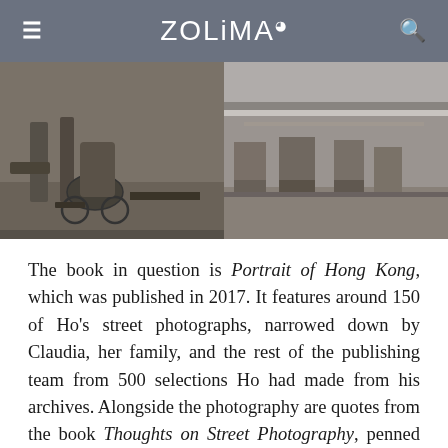ZOLIMA
[Figure (photo): Two black-and-white street photographs side by side: left shows legs near a baby stroller on steps, right shows children sitting on steps.]
The book in question is Portrait of Hong Kong, which was published in 2017. It features around 150 of Ho's street photographs, narrowed down by Claudia, her family, and the rest of the publishing team from 500 selections Ho had made from his archives. Alongside the photography are quotes from the book Thoughts on Street Photography, penned by Ho when he was 28. This month, Blue Lotus Gallery, which also helped drive the project, will showcase 40 of the photos in an exhibition of the same name